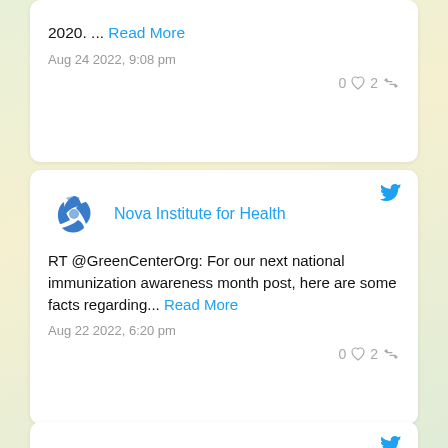2020. ... Read More
Aug 24 2022, 9:08 pm
0 ♡ 2 ↺
[Figure (screenshot): Twitter post card for Nova Institute for Health: RT @GreenCenterOrg: For our next national immunization awareness month post, here are some facts regarding... Read More — Aug 22 2022, 6:20 pm — 0 likes, 2 retweets]
[Figure (screenshot): Twitter post card for Nova Institute for Health, partially visible at bottom of page]